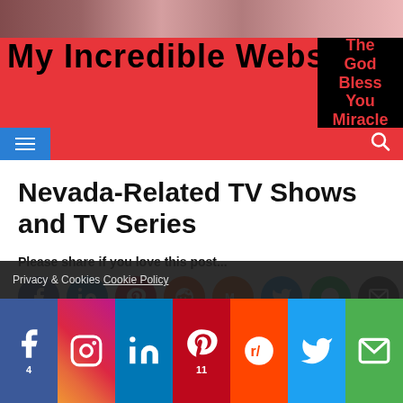[Figure (screenshot): Website header with photo strip, site title 'My Incredible Website', red navigation bar with hamburger menu and search icon, and an ad panel reading 'The God Bless You Miracle']
Nevada-Related TV Shows and TV Series
Please share if you love this post...
[Figure (infographic): Row of social media share buttons: Facebook (4), LinkedIn, Pinterest (11), Reddit, Mix, Twitter, WhatsApp, Email]
Do you love Nevada, TV series, or television? Then check
Privacy & Cookies Cookie Policy
[Figure (infographic): Bottom share bar with Facebook (4), Instagram, LinkedIn, Pinterest (11), Reddit, Twitter, Email icons on colored backgrounds]